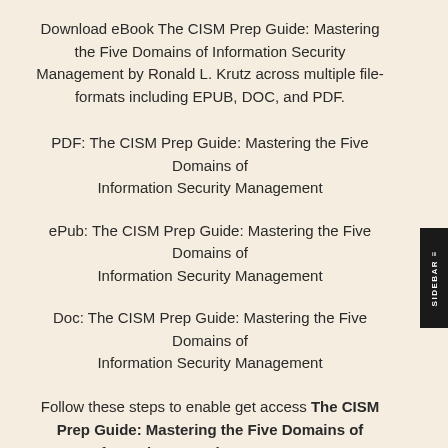Download eBook The CISM Prep Guide: Mastering the Five Domains of Information Security Management by Ronald L. Krutz across multiple file-formats including EPUB, DOC, and PDF.
PDF: The CISM Prep Guide: Mastering the Five Domains of Information Security Management
ePub: The CISM Prep Guide: Mastering the Five Domains of Information Security Management
Doc: The CISM Prep Guide: Mastering the Five Domains of Information Security Management
Follow these steps to enable get access The CISM Prep Guide: Mastering the Five Domains of Information Security Management:
Download The CISM Prep Guide: Mastering the Fi...